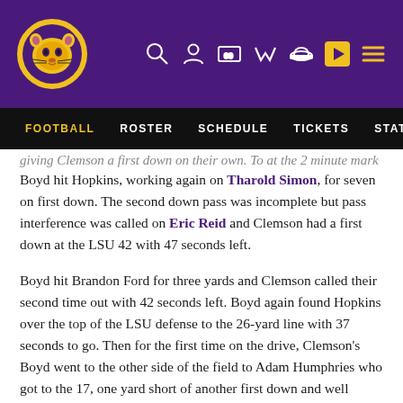[Figure (screenshot): LSU Athletics website header with purple background, LSU tiger logo on left, navigation icons on right (search, user, scoreboard, watchlist, cap, play button, menu)]
FOOTBALL | ROSTER | SCHEDULE | TICKETS | STATS
giving Clemson a first down on their own. To at the 2 minute mark
Boyd hit Hopkins, working again on Tharold Simon, for seven on first down. The second down pass was incomplete but pass interference was called on Eric Reid and Clemson had a first down at the LSU 42 with 47 seconds left.
Boyd hit Brandon Ford for three yards and Clemson called their second time out with 42 seconds left. Boyd again found Hopkins over the top of the LSU defense to the 26-yard line with 37 seconds to go. Then for the first time on the drive, Clemson's Boyd went to the other side of the field to Adam Humphries who got to the 17, one yard short of another first down and well within field goal range.
An LSU injury stopped the clock on second and one and Boyd